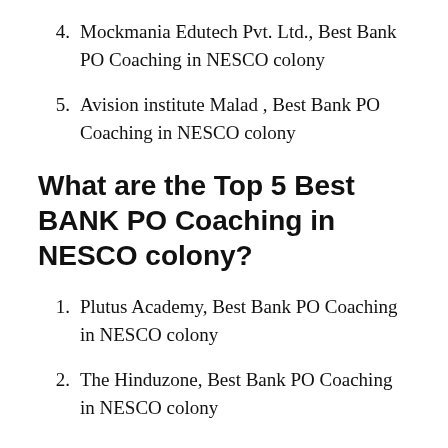4. Mockmania Edutech Pvt. Ltd., Best Bank PO Coaching in NESCO colony
5. Avision institute Malad , Best Bank PO Coaching in NESCO colony
What are the Top 5 Best BANK PO Coaching in NESCO colony?
1. Plutus Academy, Best Bank PO Coaching in NESCO colony
2. The Hinduzone, Best Bank PO Coaching in NESCO colony